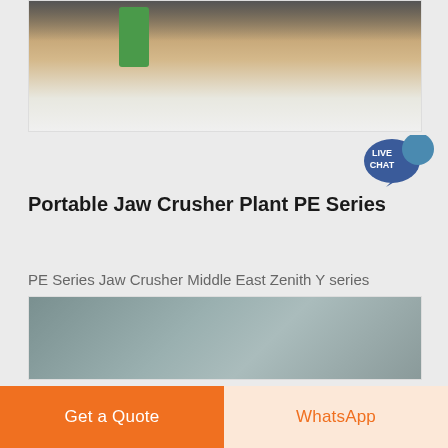[Figure (photo): Outdoor construction site with snow on the ground, machinery and equipment visible, green equipment in background]
[Figure (illustration): Live Chat speech bubble icon — dark blue/teal bubble with white text LIVE CHAT]
Portable Jaw Crusher Plant PE Series
PE Series Jaw Crusher Middle East Zenith Y series portable crushing plant is designed PE Series Jaw Crusher series of the shanghai XSM has a feature
[Figure (photo): Partial image of industrial or mining equipment, grey-blue gradient tones]
Get a Quote
WhatsApp